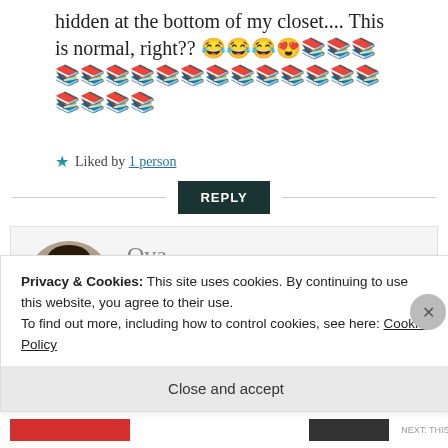hidden at the bottom of my closet.... This is normal, right?? 😂😂😂😍📚📚📚📚📚📚📚📚📚📚📚📚📚📚📚
★ Liked by 1 person
REPLY
[Figure (photo): Circular avatar photo of a person with curly dark hair holding a book in front of their face]
Ova
AUGUST 13, 2018 AT 1:52
Privacy & Cookies: This site uses cookies. By continuing to use this website, you agree to their use.
To find out more, including how to control cookies, see here: Cookie Policy
Close and accept